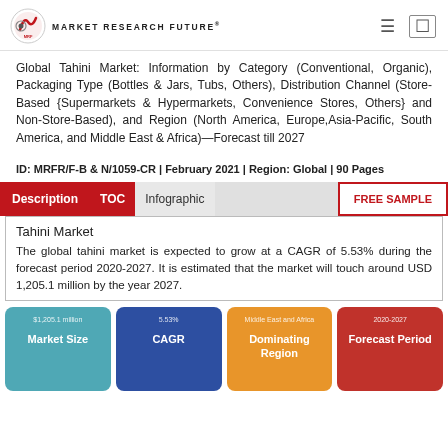MARKET RESEARCH FUTURE
Global Tahini Market: Information by Category (Conventional, Organic), Packaging Type (Bottles & Jars, Tubs, Others), Distribution Channel (Store-Based {Supermarkets & Hypermarkets, Convenience Stores, Others} and Non-Store-Based), and Region (North America, Europe,Asia-Pacific, South America, and Middle East & Africa)—Forecast till 2027
ID: MRFR/F-B & N/1059-CR | February 2021 | Region: Global | 90 Pages
Tahini Market
The global tahini market is expected to grow at a CAGR of 5.53% during the forecast period 2020-2027. It is estimated that the market will touch around USD 1,205.1 million by the year 2027.
[Figure (infographic): Four info cards: Market Size ($1,205.1 million, teal), CAGR (5.53%, blue), Dominating Region (Middle East and Africa, orange), Forecast Period (2020-2027, red)]